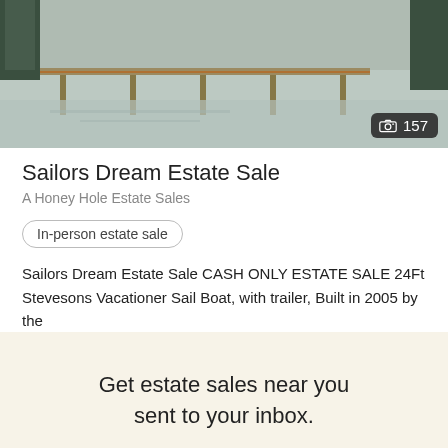[Figure (photo): Outdoor photo showing a dock or waterfront scene with trees and a snow/water background, with a camera icon and photo count badge showing 157]
Sailors Dream Estate Sale
A Honey Hole Estate Sales
In-person estate sale
Sailors Dream Estate Sale CASH ONLY ESTATE SALE 24Ft Stevesons Vacationer Sail Boat, with trailer, Built in 2005 by the
Get estate sales near you sent to your inbox.
Sign me up!
No Thanks